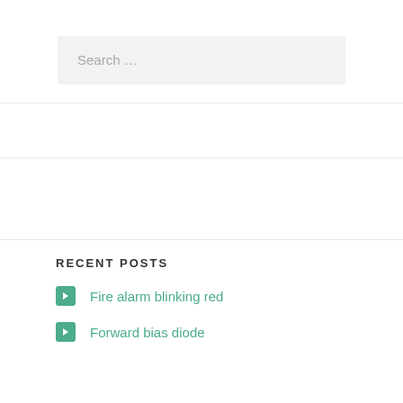Search …
RECENT POSTS
Fire alarm blinking red
Forward bias diode